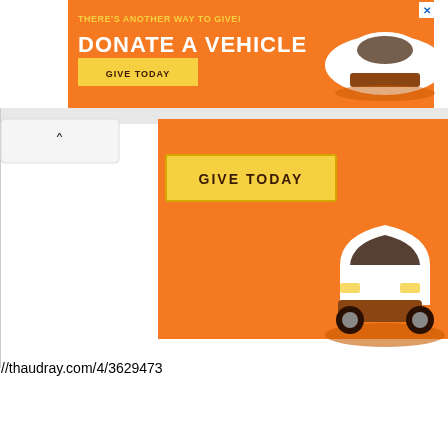[Figure (screenshot): Web advertisement banner for vehicle donation. Orange background with text 'THERE'S ANOTHER WAY TO GIVE! DONATE A VEHICLE' and a 'GIVE TODAY' yellow button, plus an illustration of a white car. Shown twice: once as a top banner and once as an expanded version below. A back navigation button with up arrow is visible on the left.]
//thaudray.com/4/3629473